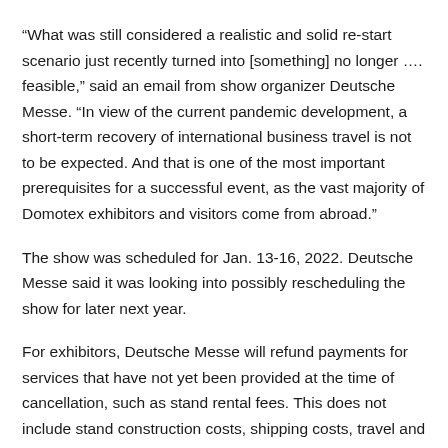“What was still considered a realistic and solid re-start scenario just recently turned into [something] no longer …. feasible,” said an email from show organizer Deutsche Messe. “In view of the current pandemic development, a short-term recovery of international business travel is not to be expected. And that is one of the most important prerequisites for a successful event, as the vast majority of Domotex exhibitors and visitors come from abroad.”
The show was scheduled for Jan. 13-16, 2022. Deutsche Messe said it was looking into possibly rescheduling the show for later next year.
For exhibitors, Deutsche Messe will refund payments for services that have not yet been provided at the time of cancellation, such as stand rental fees. This does not include stand construction costs, shipping costs, travel and